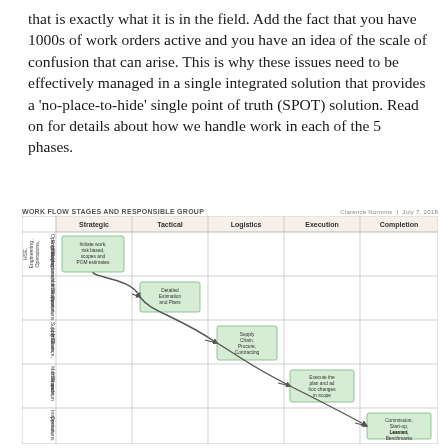that is exactly what it is in the field. Add the fact that you have 1000s of work orders active and you have an idea of the scale of confusion that can arise. This is why these issues need to be effectively managed in a single integrated solution that provides a 'no-place-to-hide' single point of truth (SPOT) solution. Read on for details about how we handle work in each of the 5 phases.
WORK FLOW STAGES AND RESPONSIBLE GROUP    Clarence Normins | July 7, 2018
[Figure (flowchart): Work flow stages matrix with 5 phases (Strategic, Tactical, Logistics, Execution, Completion) as columns and 5 responsible groups as rows (Operations/Engineering/HSE/Inspections/Maintenance, Maintenance/HSE/Inspection/Operations, Supply Chain/Maintenance/HSE, Maintenance/HSE and Inspection, Inspection/Operations). A curved arrow flows diagonally from top-left to bottom-right connecting green-highlighted boxes: 'Initiate work, risk based, scopes and POM estimates' (Strategic row 1), 'Detailed Estimation and Plans' (Tactical row 2), 'Supply Chain, Procure, Contracting' (Logistics row 3), 'Execute the plan and ad hoc changes in scope' (Execution row 4), 'Commission, Start-up, Lessons Learned, Benchmarks' (Completion row 5).]